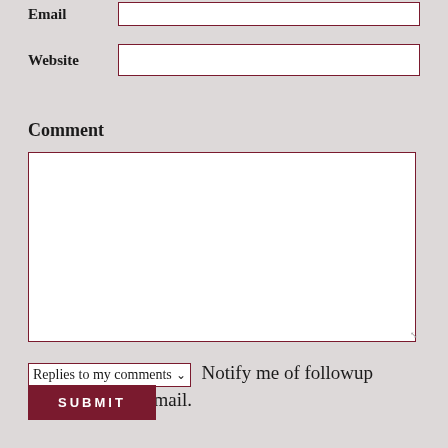Email
Website
Comment
Replies to my comments ▾  Notify me of followup comments via e-mail.
SUBMIT